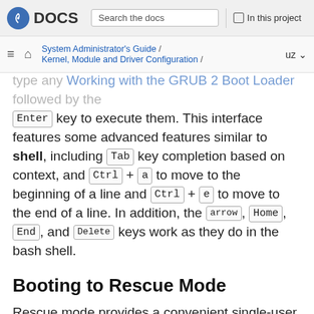Fedora DOCS | Search the docs | In this project
System Administrator's Guide / Kernel, Module and Driver Configuration / Working with the GRUB 2 Boot Loader | uz
type any working with the GRUB 2 Boot Loader followed by the Enter key to execute them. This interface features some advanced features similar to shell, including Tab key completion based on context, and Ctrl + a to move to the beginning of a line and Ctrl + e to move to the end of a line. In addition, the arrow, Home, End, and Delete keys work as they do in the bash shell.
Booting to Rescue Mode
Rescue mode provides a convenient single-user environment and allows you to repair your system